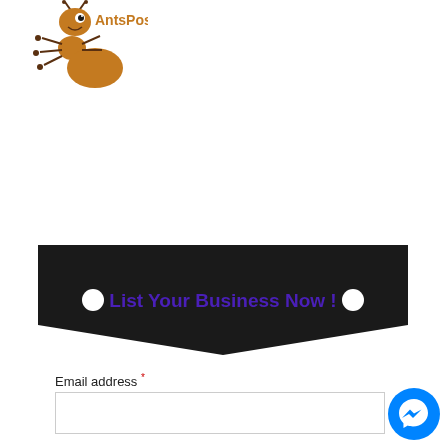[Figure (logo): AntsPost logo with cartoon ant illustration and text 'AntsPost' in brown/orange color]
[Figure (infographic): Dark black banner/badge shape with text 'List Your Business Now !' in bold purple, with two white circular dots on left and right sides]
Email address *
[Figure (other): Blue circular Messenger chat button icon in bottom right corner]